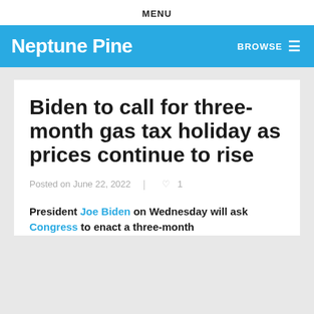MENU
Neptune Pine
BROWSE
Biden to call for three-month gas tax holiday as prices continue to rise
Posted on June 22, 2022  ♡ 1
President Joe Biden on Wednesday will ask Congress to enact a three-month